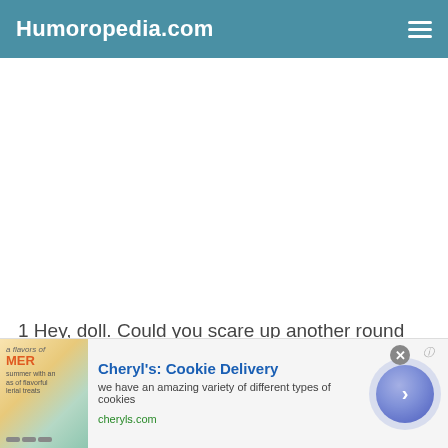Humoropedia.com
1 Hey, doll. Could you scare up another round for our table over here? And tell the cook this is low grade dog food. I've had better food at the ballgame, you know? This sto…
[Figure (screenshot): Advertisement banner for Cheryl's Cookie Delivery with cookie image, title, description, and call-to-action button]